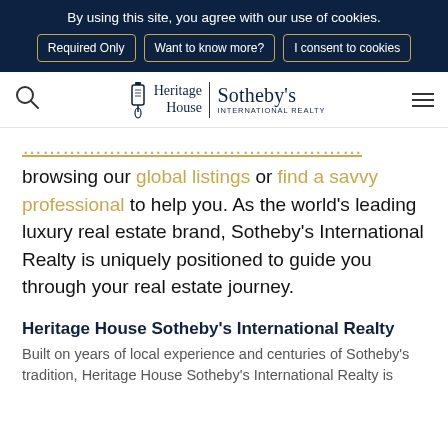By using this site, you agree with our use of cookies.
Required Only
Want to know more?
I consent to cookies
[Figure (logo): Heritage House Sotheby's International Realty logo with lantern icon]
browsing our global listings or find a savvy professional to help you. As the world's leading luxury real estate brand, Sotheby's International Realty is uniquely positioned to guide you through your real estate journey.
Heritage House Sotheby's International Realty
Built on years of local experience and centuries of Sotheby's tradition, Heritage House Sotheby's International Realty is